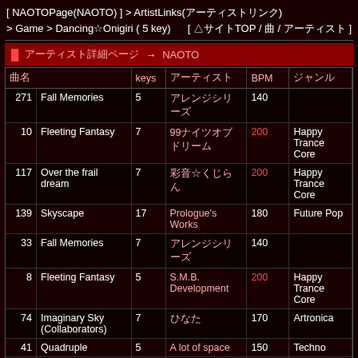[ NAOTOPage(NAOTO) ] > ArtistLinks(アーティストリンク) [ △サイトTOP / 曲 / アーティスト ] > Game > Dancing☆Onigiri ( 5 key)
アーティスト詳細ページ → NAOTO
| 曲名 | keys | アーティスト | BPM | ジャンル |
| --- | --- | --- | --- | --- |
| 271 | Fall Memories | 5 | アレンジシリーズ | 140 |  |
| 10 | Fleeting Fantasy | 7 | 99ナイツオブドリーム | 200 | Happy Trance Core |
| 117 | Over the frail dream | 7 | 彩音☆くじらん | 200 | Happy Trance Core |
| 139 | Skyscape | 17 | Prologue's Works | 180 | Future Pop |
| 33 | Fall Memories | 7 | アレンジシリーズ | 140 |  |
| 8 | Fleeting Fantasy | 5 | S.M.B. Development | 200 | Happy Trance Core |
| 74 | Imaginary Sky (Collaborators) | 7 | ひなた | 170 | Artronica |
| 41 | Quadruple | 5 | A lot of space | 150 | Techno |
| 6 | Last Tears | 5 | ナイトSudden | 174-180 |  |
| 128 | Little Pleasures | 11 | Cross Walker | 128 | Epic House |